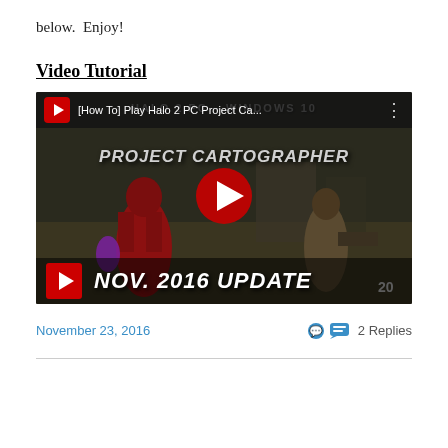below.  Enjoy!
Video Tutorial
[Figure (screenshot): Embedded YouTube video thumbnail for '[How To] Play Halo 2 PC Project Ca...' showing Halo 2 Project Cartographer gameplay with two armored characters, a large YouTube play button in the center, and 'NOV. 2016 UPDATE' text at the bottom.]
November 23, 2016
2 Replies